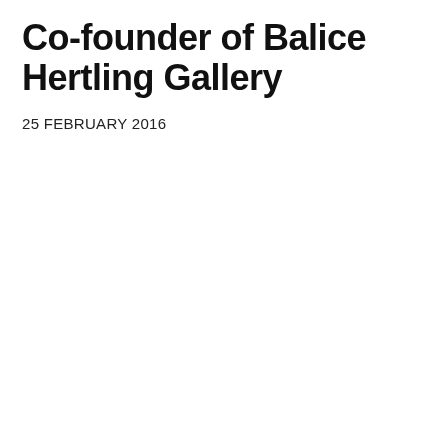Co-founder of Balice Hertling Gallery
25 FEBRUARY 2016